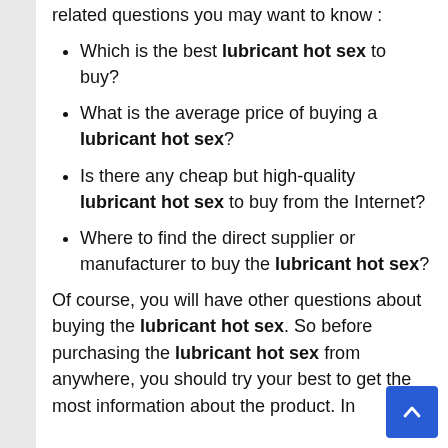related questions you may want to know :
Which is the best lubricant hot sex to buy?
What is the average price of buying a lubricant hot sex?
Is there any cheap but high-quality lubricant hot sex to buy from the Internet?
Where to find the direct supplier or manufacturer to buy the lubricant hot sex?
Of course, you will have other questions about buying the lubricant hot sex. So before purchasing the lubricant hot sex from anywhere, you should try your best to get the most information about the product. In